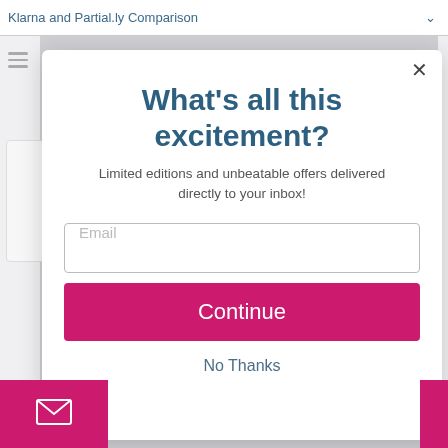Klarna and Partial.ly Comparison
What's all this excitement?
Limited editions and unbeatable offers delivered directly to your inbox!
[Figure (screenshot): Email input field with placeholder text 'Email']
[Figure (screenshot): Pink 'Continue' button]
No Thanks